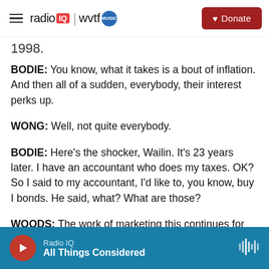radio IQ | wvtf MUSIC — Donate
1998.
BODIE: You know, what it takes is a bout of inflation. And then all of a sudden, everybody, their interest perks up.
WONG: Well, not quite everybody.
BODIE: Here's the shocker, Wailin. It's 23 years later. I have an accountant who does my taxes. OK? So I said to my accountant, I'd like to, you know, buy I bonds. He said, what? What are those?
WOODS: The work of marketing this continues for
Radio IQ — All Things Considered